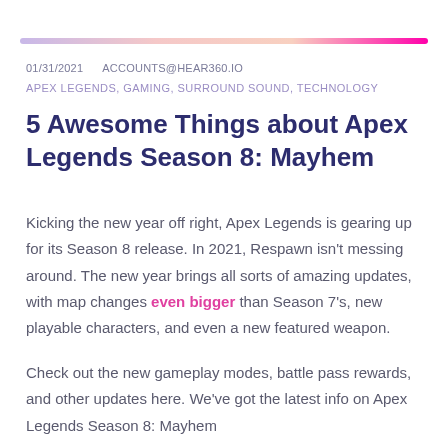01/31/2021   ACCOUNTS@HEAR360.IO
APEX LEGENDS, GAMING, SURROUND SOUND, TECHNOLOGY
5 Awesome Things about Apex Legends Season 8: Mayhem
Kicking the new year off right, Apex Legends is gearing up for its Season 8 release. In 2021, Respawn isn't messing around. The new year brings all sorts of amazing updates, with map changes even bigger than Season 7's, new playable characters, and even a new featured weapon.
Check out the new gameplay modes, battle pass rewards, and other updates here. We've got the latest info on Apex Legends Season 8: Mayhem